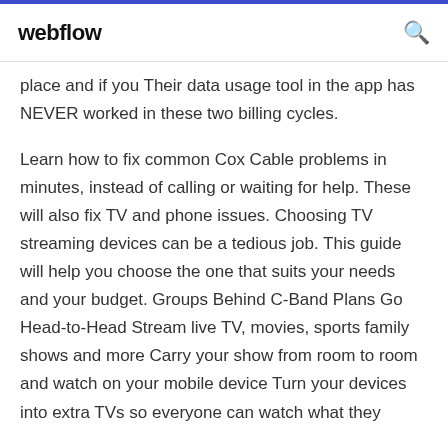webflow
place and if you Their data usage tool in the app has NEVER worked in these two billing cycles.
Learn how to fix common Cox Cable problems in minutes, instead of calling or waiting for help. These will also fix TV and phone issues. Choosing TV streaming devices can be a tedious job. This guide will help you choose the one that suits your needs and your budget. Groups Behind C-Band Plans Go Head-to-Head Stream live TV, movies, sports family shows and more Carry your show from room to room and watch on your mobile device Turn your devices into extra TVs so everyone can watch what they